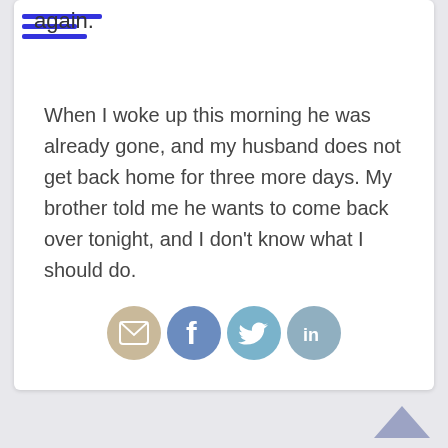again.
When I woke up this morning he was already gone, and my husband does not get back home for three more days. My brother told me he wants to come back over tonight, and I don't know what I should do.
[Figure (infographic): Four social sharing icon buttons: email (tan/beige circle with envelope), Facebook (blue-gray circle with f), Twitter (light blue circle with bird), LinkedIn (muted blue circle with 'in')]
[Figure (other): A purple/periwinkle upward-pointing triangle arrow indicating scroll to top]